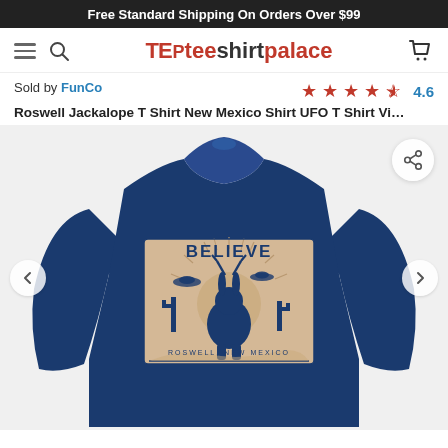Free Standard Shipping On Orders Over $99
[Figure (logo): Tee Shirt Palace logo with hamburger menu, search icon, and cart icon in navigation bar]
Sold by FunCo
4.6 stars rating
Roswell Jackalope T Shirt New Mexico Shirt UFO T Shirt Vi...
[Figure (photo): Navy blue long-sleeve baby onesie with a vintage desert scene graphic reading BELIEVE with a jackalope, UFO, cactus, and text ROSWELL, NEW MEXICO]